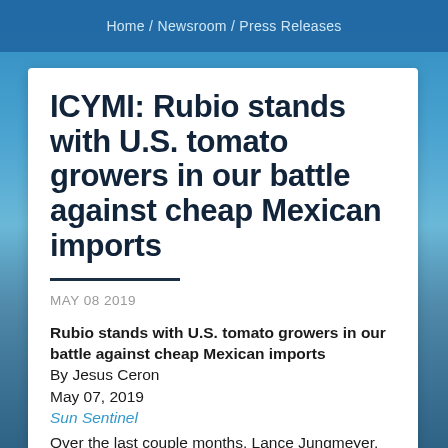Home / Newsroom / Press Releases
ICYMI: Rubio stands with U.S. tomato growers in our battle against cheap Mexican imports
MAY 08 2019
Rubio stands with U.S. tomato growers in our battle against cheap Mexican imports
By Jesus Ceron
May 07, 2019
Sun Sentinel
Over the last couple months, Lance Jungmeyer,